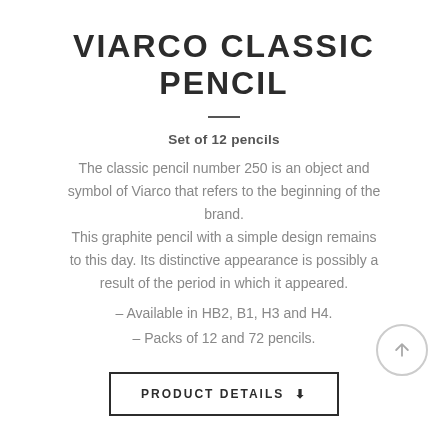VIARCO CLASSIC PENCIL
Set of 12 pencils
The classic pencil number 250 is an object and symbol of Viarco that refers to the beginning of the brand. This graphite pencil with a simple design remains to this day. Its distinctive appearance is possibly a result of the period in which it appeared.
– Available in HB2, B1, H3 and H4.
– Packs of 12 and 72 pencils.
PRODUCT DETAILS ⬇